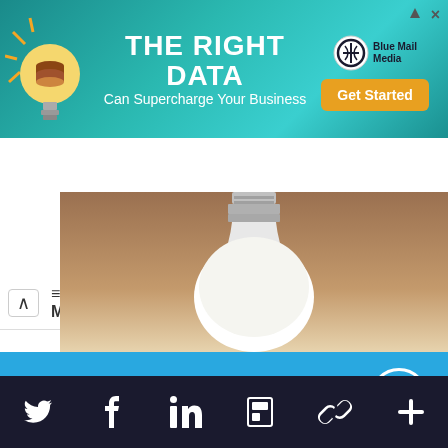[Figure (screenshot): Advertisement banner: THE RIGHT DATA Can Supercharge Your Business - Blue Mail Media Get Started]
[Figure (screenshot): Navigation bar with MENU, FIND, SUBS, DONATE buttons]
[Figure (photo): Close-up photo of a light bulb on a warm brown background]
Support IA
Subscribe to IA and investigate Australia today.
[Figure (screenshot): Support IA modal with Close, Subscribe, and Donate buttons]
[Figure (screenshot): Social media footer bar with Twitter, Facebook, LinkedIn, Flipboard, link, and plus icons]